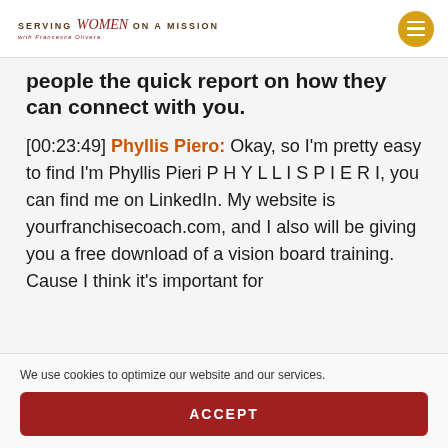SERVING Women ON A MISSION
people the quick report on how they can connect with you.
[00:23:49] Phyllis Piero: Okay, so I'm pretty easy to find I'm Phyllis Pieri P H Y L L I S P I E R I, you can find me on LinkedIn. My website is yourfranchisecoach.com, and I also will be giving you a free download of a vision board training. Cause I think it's important for
We use cookies to optimize our website and our services.
ACCEPT